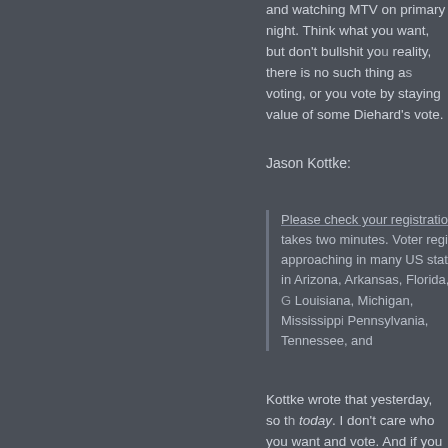and watching MTV on primary night. Think what you want, but don't bullshit yourself. In reality, there is no such thing as not voting, or you vote by staying home and lower the value of some Diehard's vote.
Jason Kottke:
Please check your registration status. It takes two minutes. Voter registration is approaching in many US states, including in Arizona, Arkansas, Florida, Georgia, Louisiana, Michigan, Mississippi, Pennsylvania, Tennessee, and …
Kottke wrote that yesterday, so the deadline is today. I don't care who you want to win, go and vote. And if you think you are registered, it does just take a minute.